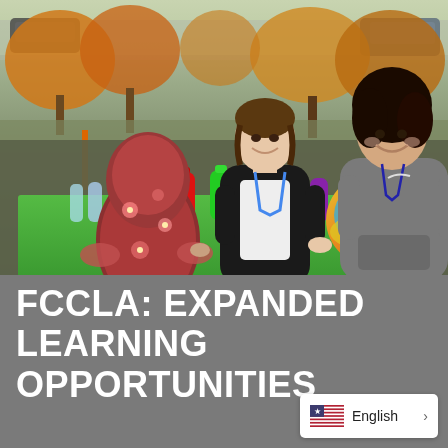[Figure (photo): Two teenage girls smiling behind an outdoor table with colorful paint bottles and art supplies. A young child in a floral coat stands in front of the table facing away. A pumpkin painted with 'FCCLA' in orange letters on a teal/yellow background sits on the right side of the table. Fall trees and a parking lot are visible in the background.]
FCCLA: EXPANDED LEARNING OPPORTUNITIES